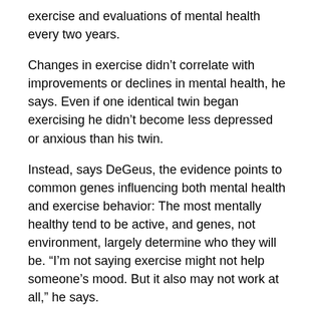exercise and evaluations of mental health every two years.
Changes in exercise didn't correlate with improvements or declines in mental health, he says. Even if one identical twin began exercising he didn't become less depressed or anxious than his twin.
Instead, says DeGeus, the evidence points to common genes influencing both mental health and exercise behavior: The most mentally healthy tend to be active, and genes, not environment, largely determine who they will be. “I’m not saying exercise might not help someone’s mood. But it also may not work at all,” he says.
Irrespective of genes, there’s strong evidence that exercise can improve symptoms of depression, says psychologist James Blumenthal of Duke University Medical Center. “I doubt that there’s no link between exercise and mood because again and again we’ve seen that when they become sedentary, people are more likely to get depressed, and